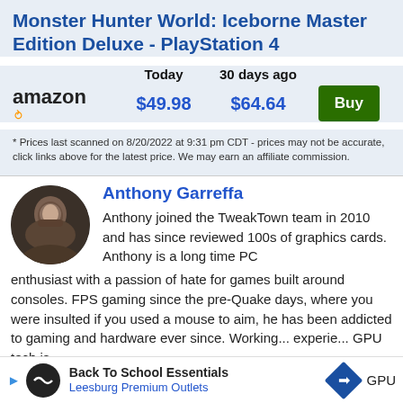Monster Hunter World: Iceborne Master Edition Deluxe - PlayStation 4
|  | Today | 30 days ago |  |
| --- | --- | --- | --- |
| amazon | $49.98 | $64.64 | Buy |
* Prices last scanned on 8/20/2022 at 9:31 pm CDT - prices may not be accurate, click links above for the latest price. We may earn an affiliate commission.
Anthony Garreffa
Anthony joined the TweakTown team in 2010 and has since reviewed 100s of graphics cards. Anthony is a long time PC enthusiast with a passion of hate for games built around consoles. FPS gaming since the pre-Quake days, where you were insulted if you used a mouse to aim, he has been addicted to gaming and hardware ever since. Workin...experie... GPU tech is...
[Figure (other): Advertisement banner: Back To School Essentials - Leesburg Premium Outlets]